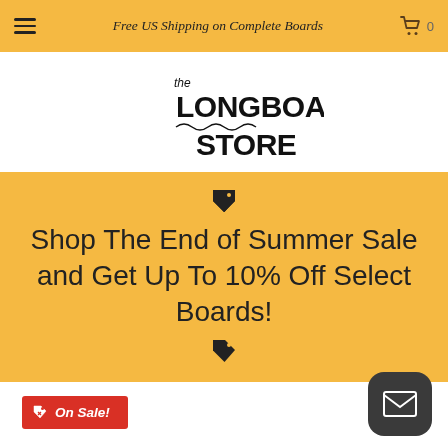Free US Shipping on Complete Boards
[Figure (logo): The Longboard Store logo — hand-lettered style text reading 'the LONGBOARD STORE' with wavy underline]
Shop The End of Summer Sale and Get Up To 10% Off Select Boards!
On Sale!